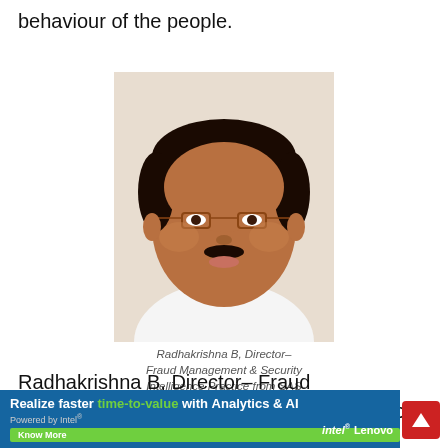behaviour of the people.
[Figure (photo): Headshot photo of Radhakrishna B, a man with glasses and mustache wearing a white shirt]
Radhakrishna B, Director– Fraud Management & Security Intelligence Practice from SAS Institute (India) Pvt Ltd
Radhakrishna B, Director– Fraud Management & Security Intelligence Practice from SAS Institute (India) Pvt Ltd gave a presentation
[Figure (infographic): Advertisement banner: Realize faster time-to-value with Analytics & AI. Powered by Intel. Know More button. Intel and Lenovo logos.]